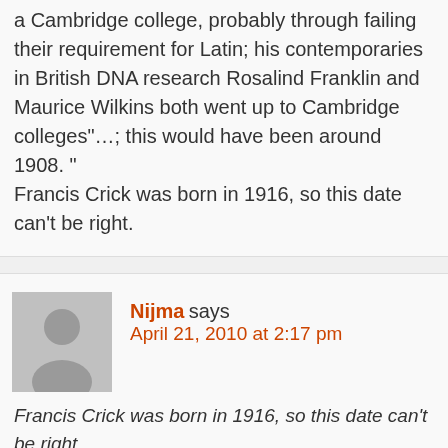a Cambridge college, probably through failing their requirement for Latin; his contemporaries in British DNA research Rosalind Franklin and Maurice Wilkins both went up to Cambridge colleges”…; this would have been around 1908. "
Francis Crick was born in 1916, so this date can't be right.
Nijma says
April 21, 2010 at 2:17 pm
Francis Crick was born in 1916, so this date can't be right
Oh, sorry, yes that would have been his father, Harry Crick, who was born 1887. “At the age of 21, Crick earned a B.Sc. degree in physics from University College of London (UCL)after he had failed to gain his